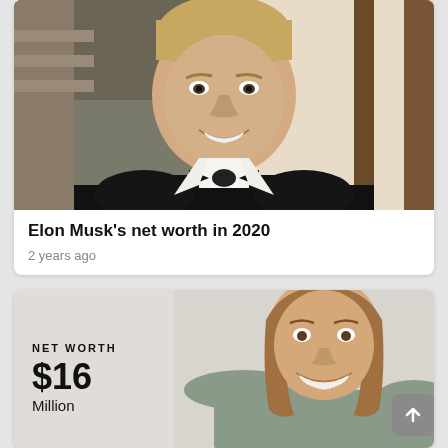[Figure (photo): Photo of Elon Musk in a black tuxedo with bow tie, smiling, at a formal event]
Elon Musk’s net worth in 2020
2 years ago
[Figure (infographic): Net worth infographic card showing NET WORTH $16 Million with a photo of a smiling man in a casual grey shirt]